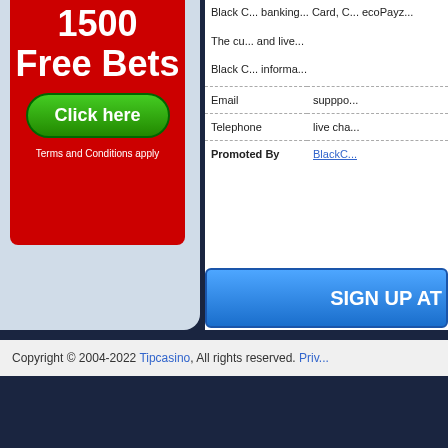[Figure (illustration): Red casino advertisement banner showing '1500 Free Bets' with a green 'Click here' button and 'Terms and Conditions apply' text]
Black C... banking... Card, C... ecoPayz...
The cu... and live...
Black C... informa...
|  |  |
| --- | --- |
| Email | supppo... |
| Telephone | live cha... |
| Promoted By | BlackC... |
SIGN UP AT
Copyright © 2004-2022 Tipcasino, All rights reserved. Priv...